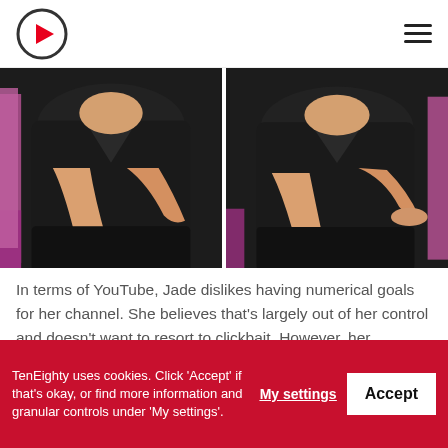TenEighty logo and navigation
[Figure (photo): Two side-by-side photos of a person wearing black clothing, seated, showing torso, arms and hands resting on lap, with a pink/purple surface visible on the sides.]
In terms of YouTube, Jade dislikes having numerical goals for her channel. She believes that's largely out of her control and doesn't want to resort to clickbait. However, her subscriber count is steadily increasing and with all growing channels, the possibility of getting big on YouTube is real. We ask Jade if she's considered this and the repercussions that come with having a large channel.
TenEighty uses cookies. Click 'Accept' if that's okay, or find more information and granular controls under 'My settings'.